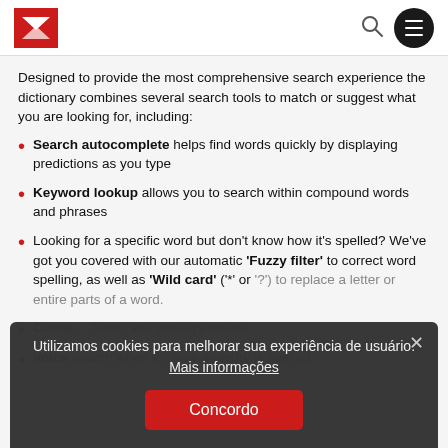Macmillan Dictionary logo with search and menu icons
Designed to provide the most comprehensive search experience the dictionary combines several search tools to match or suggest what you are looking for, including:
Search autocomplete helps find words quickly by displaying predictions as you type
Keyword lookup allows you to search within compound words and phrases
Looking for a specific word but don't know how it's spelled? We've got you covered with our automatic 'Fuzzy filter' to correct word spelling, as well as 'Wild card' ('*' or '?') to replace a letter or entire parts of a word.
Camera search — finder and displays results
Voice search when you how an entry is spelled
Utilizamos cookies para melhorar sua experiência de usuário. Mais informações
Concordo